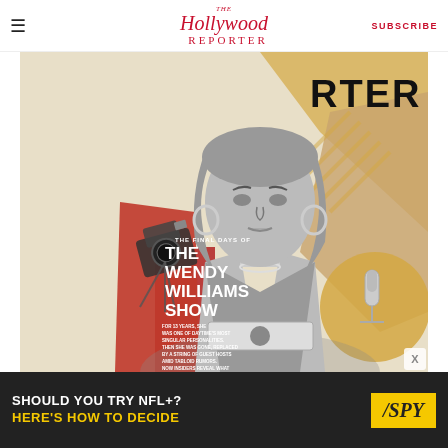The Hollywood Reporter | SUBSCRIBE
[Figure (illustration): Magazine cover for The Hollywood Reporter featuring a black-and-white photo of Wendy Williams on a collage background with red, gold, and tan torn paper elements, camera equipment illustrations, and a microphone. Text overlay reads: 'THE FINAL DAYS OF THE WENDY WILLIAMS SHOW — FOR 13 YEARS, SHE WAS ONE OF DAYTIME'S MOST SINGULAR PERSONALITIES. THEN SHE WAS GONE, REPLACED BY A STRING OF GUEST HOSTS AMID TABLOID RUMORS. NOW INSIDERS REVEAL WHAT REALLY WENT DOWN WITH TV'S QUEEN OF THE PURPLE THRONE.']
[Figure (infographic): Advertisement banner: SHOULD YOU TRY NFL+? HERE'S HOW TO DECIDE — with SPY logo on yellow background]